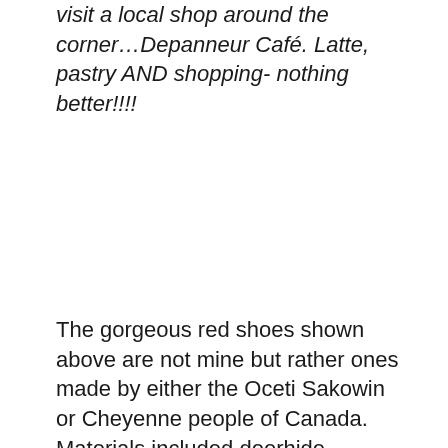visit a local shop around the corner…Depanneur Café. Latte, pastry AND shopping- nothing better!!!!
The gorgeous red shoes shown above are not mine but rather ones made by either the Oceti Sakowin or Cheyenne people of Canada. Materials included deerhide, rawhide and porcupine quills.Look pretty comfy to me.
The Indigenous Exhibit is impressive and alone, well worth the trip to the McCord Museum in Montreal.The history of indigenous cultures is beautiful as well as sobering. You can